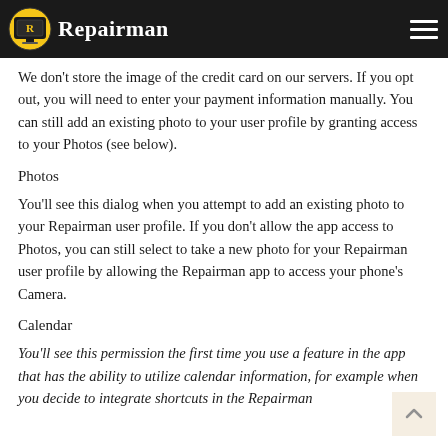Repairman
We don't store the image of the credit card on our servers. If you opt out, you will need to enter your payment information manually. You can still add an existing photo to your user profile by granting access to your Photos (see below).
Photos
You'll see this dialog when you attempt to add an existing photo to your Repairman user profile. If you don't allow the app access to Photos, you can still select to take a new photo for your Repairman user profile by allowing the Repairman app to access your phone's Camera.
Calendar
You'll see this permission the first time you use a feature in the app that has the ability to utilize calendar information, for example when you decide to integrate shortcuts in the Repairman